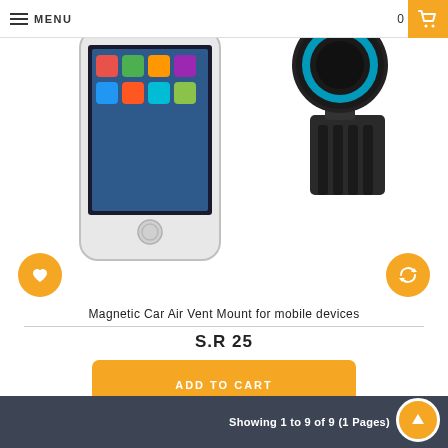MENU
[Figure (photo): Product photo showing an iPhone and a magnetic car air vent mount device with blue ring and black body on a white background]
Magnetic Car Air Vent Mount for mobile devices
S.R 25
ADD TO CART
Showing 1 to 9 of 9 (1 Pages)